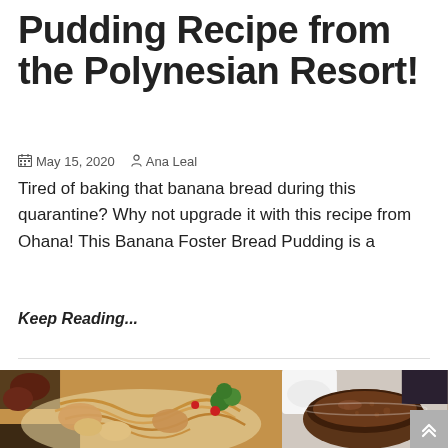Pudding Recipe from the Polynesian Resort!
May 15, 2020   Ana Leal
Tired of baking that banana bread during this quarantine? Why not upgrade it with this recipe from Ohana! This Banana Foster Bread Pudding is a
Keep Reading...
[Figure (photo): Left: plate of noodles with chicken and vegetables (Ohana restaurant food). Right: bowl of brown gravy/sauce.]